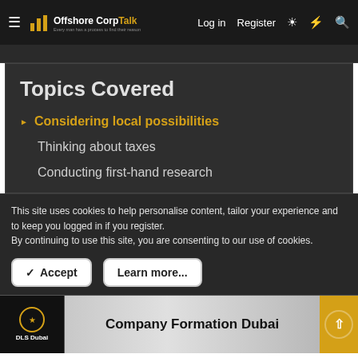OffshoreCorpTalk — Log in  Register
Topics Covered
Considering local possibilities
Thinking about taxes
Conducting first-hand research
This site uses cookies to help personalise content, tailor your experience and to keep you logged in if you register.
By continuing to use this site, you are consenting to our use of cookies.
Accept  Learn more...
[Figure (screenshot): DLS Dubai advertisement banner: 'Company Formation Dubai' with CTA button and scroll-to-top button]